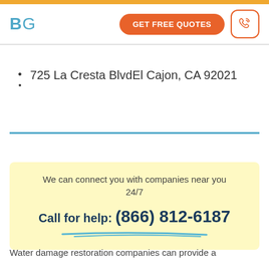BG | GET FREE QUOTES
725 La Cresta BlvdEl Cajon, CA 92021
We can connect you with companies near you 24/7
Call for help: (866) 812-6187
Water damage restoration companies can provide a